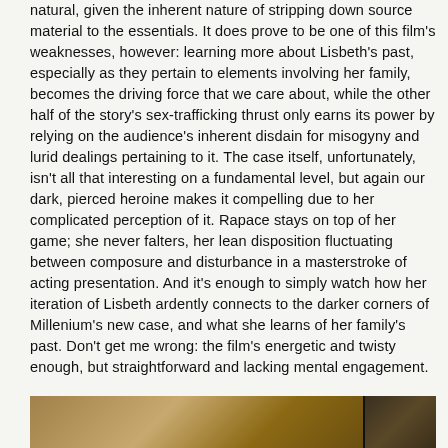natural, given the inherent nature of stripping down source material to the essentials. It does prove to be one of this film's weaknesses, however: learning more about Lisbeth's past, especially as they pertain to elements involving her family, becomes the driving force that we care about, while the other half of the story's sex-trafficking thrust only earns its power by relying on the audience's inherent disdain for misogyny and lurid dealings pertaining to it. The case itself, unfortunately, isn't all that interesting on a fundamental level, but again our dark, pierced heroine makes it compelling due to her complicated perception of it. Rapace stays on top of her game; she never falters, her lean disposition fluctuating between composure and disturbance in a masterstroke of acting presentation. And it's enough to simply watch how her iteration of Lisbeth ardently connects to the darker corners of Millenium's new case, and what she learns of her family's past. Don't get me wrong: the film's energetic and twisty enough, but straightforward and lacking mental engagement.
[Figure (photo): Partial image strip at the bottom of the page showing what appears to be a film still or promotional photo, mostly golden/warm tones on the left and dark tones on the right.]